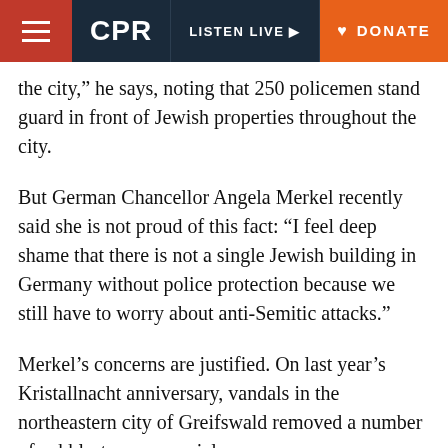CPR | LISTEN LIVE | DONATE
the city,” he says, noting that 250 policemen stand guard in front of Jewish properties throughout the city.
But German Chancellor Angela Merkel recently said she is not proud of this fact: “I feel deep shame that there is not a single Jewish building in Germany without police protection because we still have to worry about anti-Semitic attacks.”
Merkel’s concerns are justified. On last year’s Kristallnacht anniversary, vandals in the northeastern city of Greifswald removed a number of cobblestone memorials.
Seventy-five years on, though, Germans refuse to